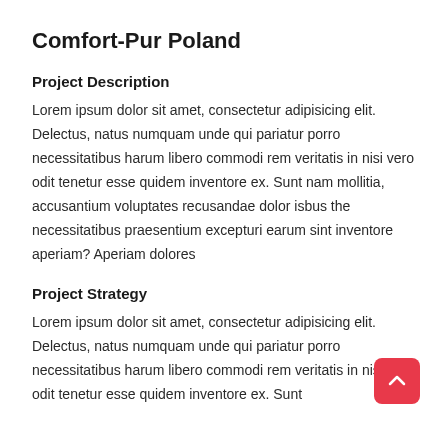Comfort-Pur Poland
Project Description
Lorem ipsum dolor sit amet, consectetur adipisicing elit. Delectus, natus numquam unde qui pariatur porro necessitatibus harum libero commodi rem veritatis in nisi vero odit tenetur esse quidem inventore ex. Sunt nam mollitia, accusantium voluptates recusandae dolor isbus the necessitatibus praesentium excepturi earum sint inventore aperiam? Aperiam dolores
Project Strategy
Lorem ipsum dolor sit amet, consectetur adipisicing elit. Delectus, natus numquam unde qui pariatur porro necessitatibus harum libero commodi rem veritatis in nisi vero odit tenetur esse quidem inventore ex. Sunt